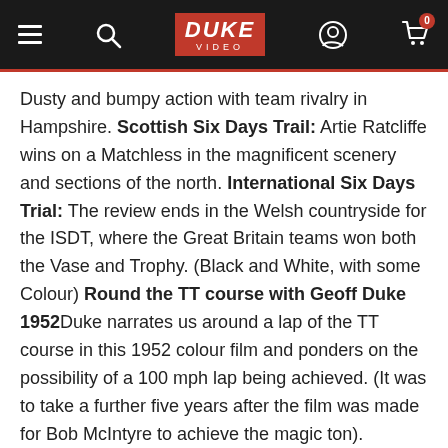Duke Video navigation bar
Dusty and bumpy action with team rivalry in Hampshire. Scottish Six Days Trail: Artie Ratcliffe wins on a Matchless in the magnificent scenery and sections of the north. International Six Days Trial: The review ends in the Welsh countryside for the ISDT, where the Great Britain teams won both the Vase and Trophy. (Black and White, with some Colour) Round the TT course with Geoff Duke 1952Duke narrates us around a lap of the TT course in this 1952 colour film and ponders on the possibility of a 100 mph lap being achieved. (It was to take a further five years after the film was made for Bob McIntyre to achieve the magic ton). (Colour)